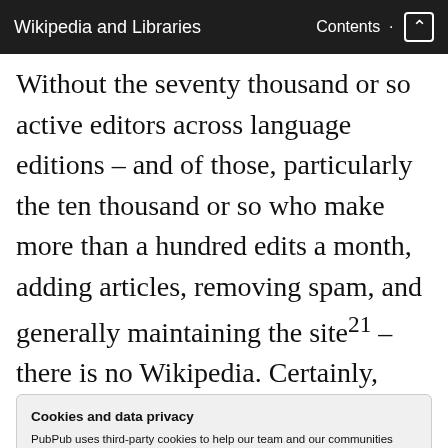Wikipedia and Libraries    Contents
Without the seventy thousand or so active editors across language editions – and of those, particularly the ten thousand or so who make more than a hundred edits a month, adding articles, removing spam, and generally maintaining the site²21 – there is no Wikipedia. Certainly, there would be static articles – those will be
Cookies and data privacy
PubPub uses third-party cookies to help our team and our communities understand which features and content on PubPub are receiving traffic. We don't sell this data or share it with anyone else, and we don't use third-party processors who aggregate and sell data. Visit your privacy settings to learn more.
dete and be no no aintaine d